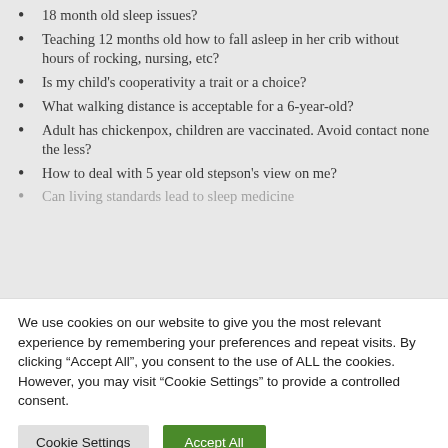18 month old sleep issues?
Teaching 12 months old how to fall asleep in her crib without hours of rocking, nursing, etc?
Is my child’s cooperativity a trait or a choice?
What walking distance is acceptable for a 6-year-old?
Adult has chickenpox, children are vaccinated. Avoid contact none the less?
How to deal with 5 year old stepson’s view on me?
We use cookies on our website to give you the most relevant experience by remembering your preferences and repeat visits. By clicking “Accept All”, you consent to the use of ALL the cookies. However, you may visit “Cookie Settings” to provide a controlled consent.